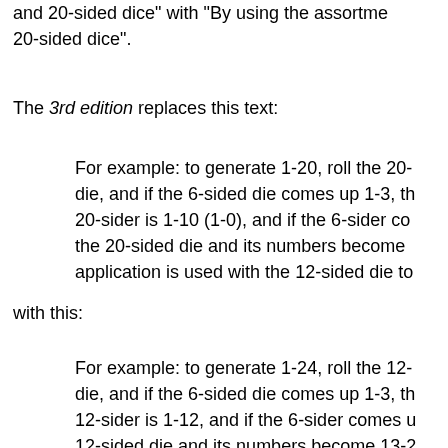and 20-sided dice" with "By using the assortme... 20-sided dice".
The 3rd edition replaces this text:
For example: to generate 1-20, roll the 20- die, and if the 6-sided die comes up 1-3, th... 20-sider is 1-10 (1-0), and if the 6-sider co... the 20-sided die and its numbers become ... application is used with the 12-sided die to...
with this:
For example: to generate 1-24, roll the 12- die, and if the 6-sided die comes up 1-3, th... 12-sider is 1-12, and if the 6-sider comes u... 12-sided die and its numbers become 13-2...